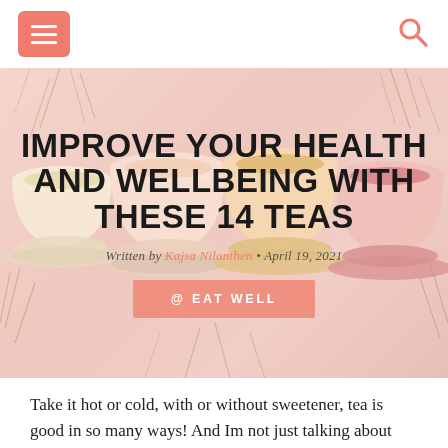[Figure (photo): Hero image of various herbal teas in cups with loose leaf herbs and spices scattered around on a light pink background]
IMPROVE YOUR HEALTH AND WELLBEING WITH THESE 14 TEAS
Written by Kajsa Nilanthen • April 19, 2021
@ EAT WELL
Take it hot or cold, with or without sweetener, tea is good in so many ways! And Im not just talking about